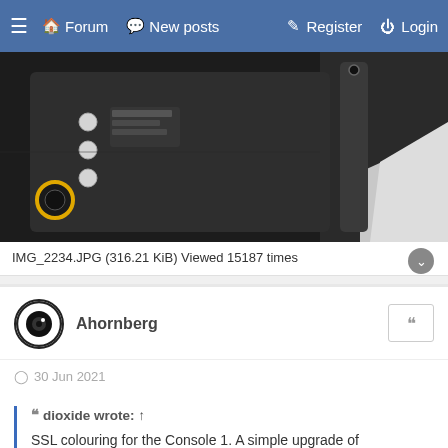≡  🏠 Forum   💬 New posts   ✎ Register   ⏻ Login
[Figure (photo): Close-up photo of a dark electronic device (audio console/tablet) showing buttons, a yellow circular dial, and a white surface in the background]
IMG_2234.JPG (316.21 KiB) Viewed 15187 times
Ahornberg
30 Jun 2021
dioxide wrote: ↑
SSL colouring for the Console 1. A simple upgrade of